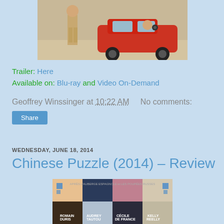[Figure (photo): Movie still showing a man in tan/khaki outfit standing near a red car, with another person partially visible inside the car]
Trailer: Here
Available on: Blu-ray and Video On-Demand
Geoffrey Winssinger at 10:22 AM    No comments:
Share
WEDNESDAY, JUNE 18, 2014
Chinese Puzzle (2014) – Review
[Figure (photo): Movie poster for Chinese Puzzle featuring cast members Romain Duris, Audrey Tautou, Cécile de France, Kelly Reelly, with text 'APRÈS L'AUBERGE ESPAGNOLE et LES POUPÉES RUSSES']